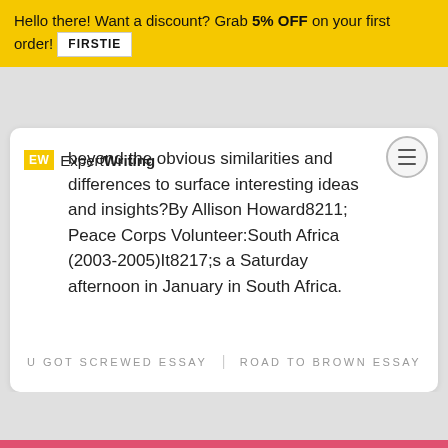Hello there! Want a discount? Grab 5% OFF on your first order! FIRSTIE
beyond the obvious similarities and differences to surface interesting ideas and insights?By Allison Howard8211; Peace Corps Volunteer:South Africa (2003-2005)It8217;s a Saturday afternoon in January in South Africa.
U GOT SCREWED ESSAY
ROAD TO BROWN ESSAY